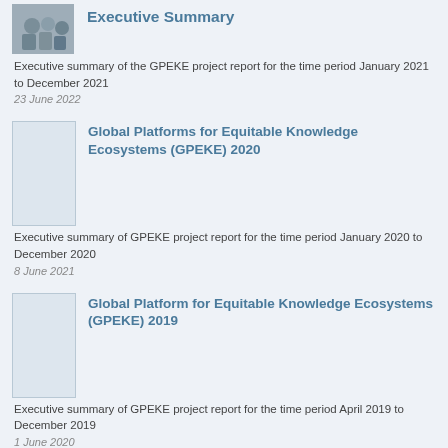[Figure (photo): Thumbnail photo of people/group for Executive Summary entry]
Executive Summary
Executive summary of the GPEKE project report for the time period January 2021 to December 2021
23 June 2022
[Figure (illustration): Blank/placeholder thumbnail image for GPEKE 2020 entry]
Global Platforms for Equitable Knowledge Ecosystems (GPEKE) 2020
Executive summary of GPEKE project report for the time period January 2020 to December 2020
8 June 2021
[Figure (illustration): Blank/placeholder thumbnail image for GPEKE 2019 entry]
Global Platform for Equitable Knowledge Ecosystems (GPEKE) 2019
Executive summary of GPEKE project report for the time period April 2019 to December 2019
1 June 2020